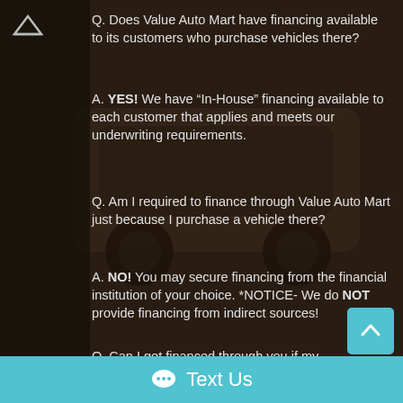Q. Does Value Auto Mart have financing available to its customers who purchase vehicles there?
A. YES! We have “In-House” financing available to each customer that applies and meets our underwriting requirements.
Q. Am I required to finance through Value Auto Mart just because I purchase a vehicle there?
A. NO! You may secure financing from the financial institution of your choice. *NOTICE- We do NOT provide financing from indirect sources!
Q. Can I get financed through you if my credit is “less than perfect”?
A. YES! We extend credit based on two things: 1.
Text Us